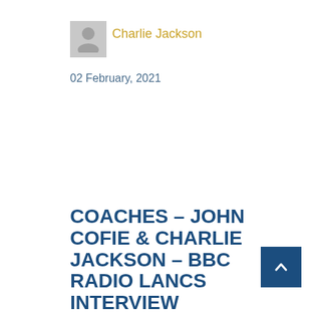[Figure (illustration): Author avatar placeholder icon (grey square with person silhouette)]
Charlie Jackson
02 February, 2021
COACHES – JOHN COFIE & CHARLIE JACKSON – BBC RADIO LANCS INTERVIEW
[Figure (other): Scroll-to-top button: dark blue square with white chevron/caret pointing up]